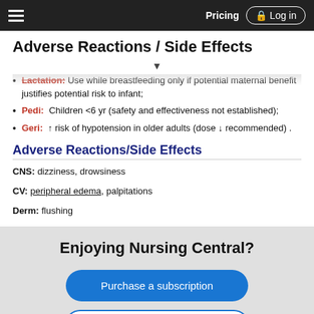Pricing  Log in
Adverse Reactions / Side Effects
Lactation: Use while breastfeeding only if potential maternal benefit justifies potential risk to infant;
Pedi: Children <6 yr (safety and effectiveness not established);
Geri: ↑ risk of hypotension in older adults (dose ↓ recommended) .
Adverse Reactions/Side Effects
CNS: dizziness, drowsiness
CV: peripheral edema, palpitations
Derm: flushing
Enjoying Nursing Central?
Purchase a subscription
I'm already a subscriber